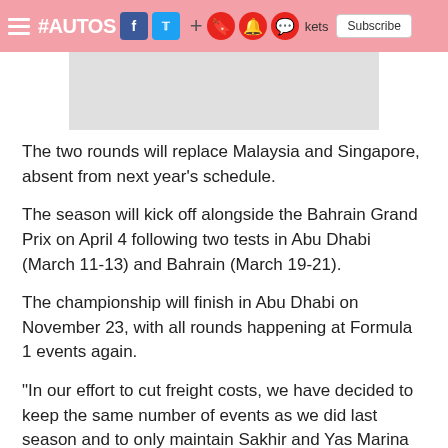#AUTOSPORT [social icons] + [action icons] kets Subscribe
[Figure (photo): Gray placeholder image area]
The two rounds will replace Malaysia and Singapore, absent from next year's schedule.
The season will kick off alongside the Bahrain Grand Prix on April 4 following two tests in Abu Dhabi (March 11-13) and Bahrain (March 19-21).
The championship will finish in Abu Dhabi on November 23, with all rounds happening at Formula 1 events again.
"In our effort to cut freight costs, we have decided to keep the same number of events as we did last season and to only maintain Sakhir and Yas Marina as overseas rounds; each opening and closing our